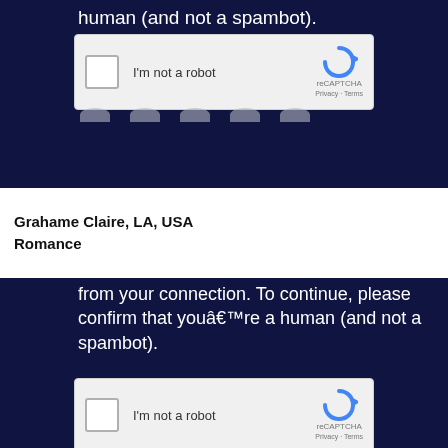human (and not a spambot).
[Figure (screenshot): reCAPTCHA widget with checkbox labeled I'm not a robot and reCAPTCHA logo with Privacy - Terms links]
Grahame Claire, LA, USA
Romance
from your connection. To continue, please confirm that youâ€™re a human (and not a spambot).
[Figure (screenshot): reCAPTCHA widget with checkbox labeled I'm not a robot and reCAPTCHA logo with Privacy - Terms links]